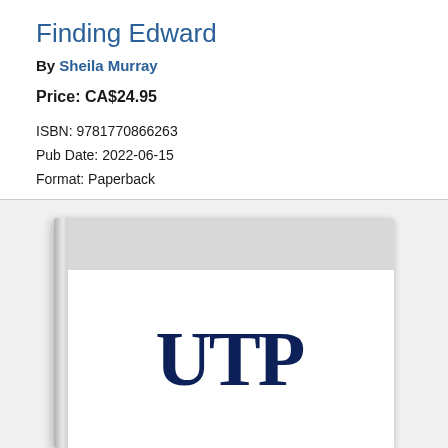Finding Edward
By Sheila Murray
Price: CA$24.95
ISBN: 9781770866263
Pub Date: 2022-06-15
Format: Paperback
[Figure (logo): Book cover with UTP (University of Toronto Press) logo in dark navy blue serif font on white background, with a grey band at the top and book spine on the left.]